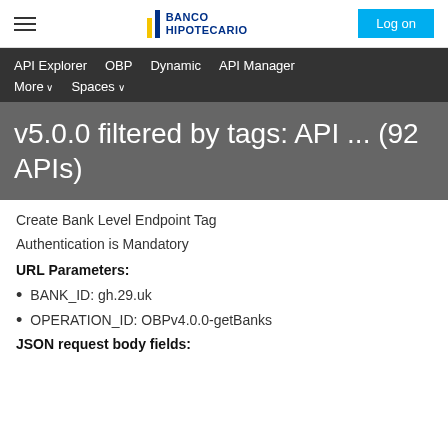BANCO HIPOTECARIO | Log on
API Explorer   OBP   Dynamic   API Manager   More ∨   Spaces ∨
v5.0.0 filtered by tags: API ... (92 APIs)
Create Bank Level Endpoint Tag
Authentication is Mandatory
URL Parameters:
BANK_ID: gh.29.uk
OPERATION_ID: OBPv4.0.0-getBanks
JSON request body fields: